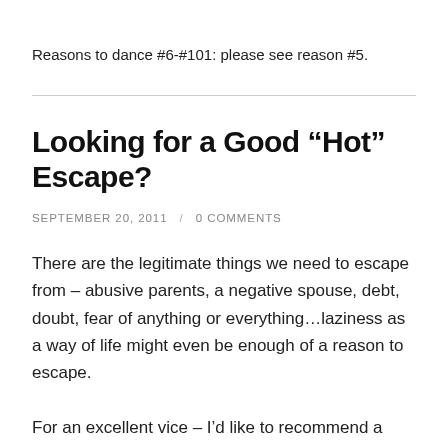Reasons to dance #6-#101: please see reason #5.
Looking for a Good “Hot” Escape?
SEPTEMBER 20, 2011 / 0 COMMENTS
There are the legitimate things we need to escape from – abusive parents, a negative spouse, debt, doubt, fear of anything or everything…laziness as a way of life might even be enough of a reason to escape.
For an excellent vice – I’d like to recommend a dance